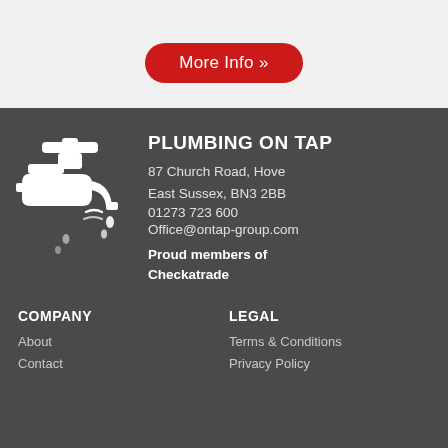[Figure (other): Red rounded button with white text 'More Info »']
[Figure (illustration): White faucet/tap icon with water drops on dark grey background]
PLUMBING ON TAP
87 Church Road, Hove
East Sussex, BN3 2BB
01273 723 600
Office@ontap-group.com
Proud members of Checkatrade
COMPANY
About
Contact
LEGAL
Terms & Conditions
Privacy Policy